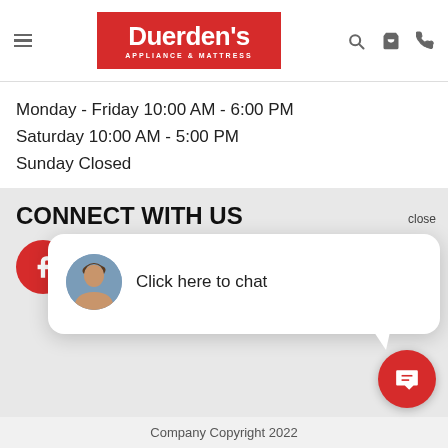[Figure (logo): Duerden's Appliance & Mattress logo on red background, with hamburger menu, search, cart, and phone icons in header]
Monday - Friday 10:00 AM - 6:00 PM
Saturday 10:00 AM - 5:00 PM
Sunday Closed
CONNECT WITH US
[Figure (illustration): Social media circles: Facebook and Instagram icons in red circles, partial third red circle. Chat popup overlay with avatar photo and text 'Click here to chat'. Close button labeled 'close'. Red chat button with message icon in bottom right.]
Company Copyright 2022